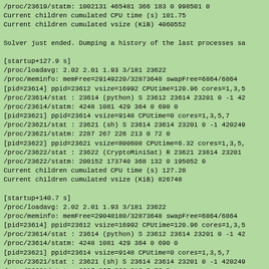/proc/23619/statm: 1002131 465481 366 183 0 998501 0
Current children cumulated CPU time (s) 101.75
Current children cumulated vsize (KiB) 4060552

Solver just ended. Dumping a history of the last processes sa

[startup+127.9 s]
/proc/loadavg: 2.02 2.01 1.93 3/181 23622
/proc/meminfo: memFree=29149220/32873648 swapFree=6864/6864
[pid=23614] ppid=23612 vsize=16992 CPUtime=120.96 cores=1,3,5
/proc/23614/stat : 23614 (python) S 23612 23614 23201 0 -1 42
/proc/23614/statm: 4248 1081 429 364 0 690 0
[pid=23621] ppid=23614 vsize=9148 CPUtime=0 cores=1,3,5,7
/proc/23621/stat : 23621 (sh) S 23614 23614 23201 0 -1 420249
/proc/23621/statm: 2287 267 226 213 0 72 0
[pid=23622] ppid=23621 vsize=800608 CPUtime=6.32 cores=1,3,5,
/proc/23622/stat : 23622 (CryptoMiniSat) R 23621 23614 23201
/proc/23622/statm: 200152 173740 368 132 0 195052 0
Current children cumulated CPU time (s) 127.28
Current children cumulated vsize (KiB) 826748

[startup+140.7 s]
/proc/loadavg: 2.02 2.01 1.93 3/181 23622
/proc/meminfo: memFree=29048180/32873648 swapFree=6864/6864
[pid=23614] ppid=23612 vsize=16992 CPUtime=120.96 cores=1,3,5
/proc/23614/stat : 23614 (python) S 23612 23614 23201 0 -1 42
/proc/23614/statm: 4248 1081 429 364 0 690 0
[pid=23621] ppid=23614 vsize=9148 CPUtime=0 cores=1,3,5,7
/proc/23621/stat : 23621 (sh) S 23614 23614 23201 0 -1 420249
/proc/23621/statm: 2287 267 226 213 0 72 0
[pid=23622] ppid=23621 vsize=892944 CPUtime=19.13 cores=1,3,5
/proc/23622/stat : 23622 (CryptoMiniSat) R 23621 23614 23201